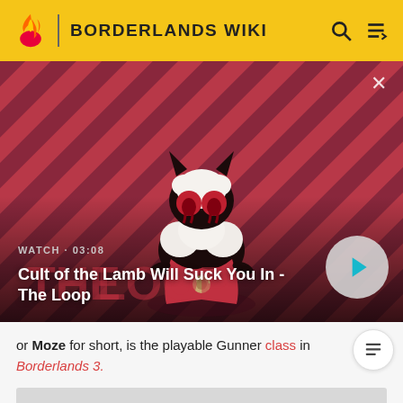BORDERLANDS WIKI
[Figure (screenshot): Video thumbnail for 'Cult of the Lamb Will Suck You In - The Loop' showing a cartoon lamb character with red eyes on a diagonal striped background. Duration shown as 03:08. Includes a play button overlay.]
WATCH · 03:08
Cult of the Lamb Will Suck You In - The Loop
or Moze for short, is the playable Gunner class in Borderlands 3.
[Figure (photo): Partially visible image placeholder at the bottom of the page]